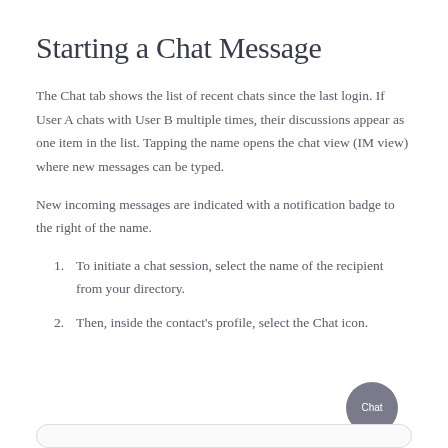Starting a Chat Message
The Chat tab shows the list of recent chats since the last login. If User A chats with User B multiple times, their discussions appear as one item in the list. Tapping the name opens the chat view (IM view) where new messages can be typed.
New incoming messages are indicated with a notification badge to the right of the name.
To initiate a chat session, select the name of the recipient from your directory.
Then, inside the contact's profile, select the Chat icon.